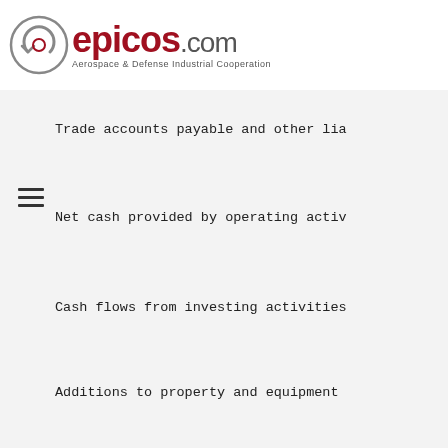epicos.com — Aerospace & Defense Industrial Cooperation
Trade accounts payable and other lia
Net cash provided by operating activ
Cash flows from investing activities
Additions to property and equipment